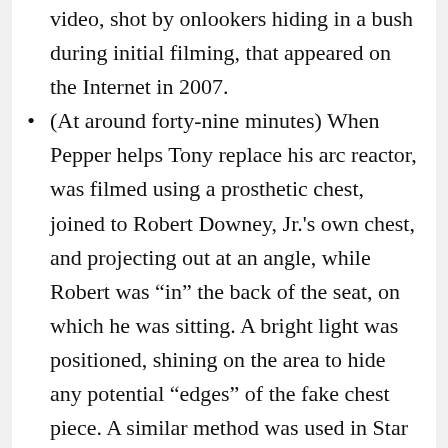video, shot by onlookers hiding in a bush during initial filming, that appeared on the Internet in 2007.
(At around forty-nine minutes) When Pepper helps Tony replace his arc reactor, was filmed using a prosthetic chest, joined to Robert Downey, Jr.'s own chest, and projecting out at an angle, while Robert was “in” the back of the seat, on which he was sitting. A bright light was positioned, shining on the area to hide any potential “edges” of the fake chest piece. A similar method was used in Star Trek: First Contact (1996) when the Borg Queen was introduced.
To prepare for his role as Obadiah Stane, Jeff Bridges read some of the “Iron Man” comic books that featured Stane. He also grew a beard and shaved his head, which he said was something he’d